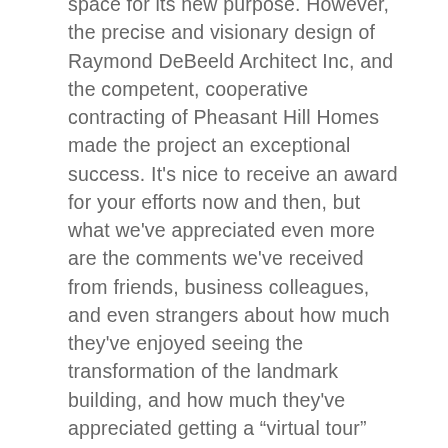space for its new purpose.  However, the precise and visionary design of Raymond DeBeeld Architect Inc, and the competent, cooperative contracting of Pheasant Hill Homes made the project an exceptional success.  It's nice to receive an award for your efforts now and then, but what we've appreciated even more are the comments we've received from friends, business colleagues, and even strangers about how much they've enjoyed seeing the transformation of the landmark building, and how much they've appreciated getting a “virtual tour” through our blog posting about the project on our website.  So, congratulations to Raymond DeBeeld Architect Inc, (and to ourselves!) for receiving the 2012 VIREB Commercial Building Award for best Heritage Renovation.